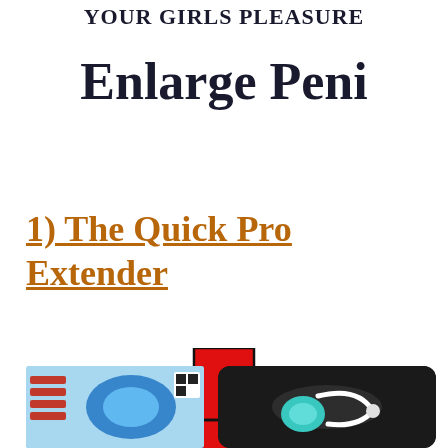YOUR GIRLS PLEASURE
Enlarge Peni
1) The Quick Pro Extender
[Figure (illustration): Large red downward-pointing arrow]
[Figure (photo): Two product images side by side at the bottom of the page: left shows a blue product on light blue background, right shows a product on dark/black background]